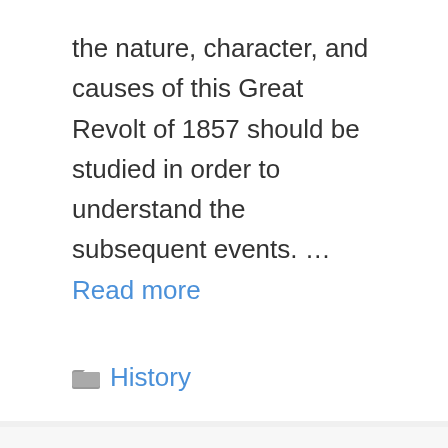the nature, character, and causes of this Great Revolt of 1857 should be studied in order to understand the subsequent events. … Read more
History
India as a Secular State, Social Harmony Tnpsc